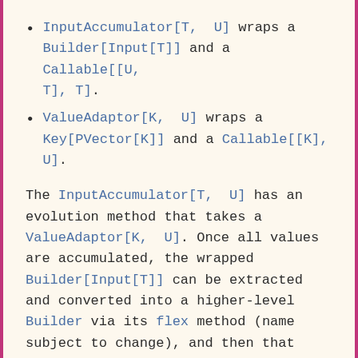InputAccumulator[T, U] wraps a Builder[Input[T]] and a Callable[[U, T], T].
ValueAdaptor[K, U] wraps a Key[PVector[K]] and a Callable[[K], U].
The InputAccumulator[T, U] has an evolution method that takes a ValueAdaptor[K, U]. Once all values are accumulated, the wrapped Builder[Input[T]] can be extracted and converted into a higher-level Builder via its flex method (name subject to change), and then that builder can be concatenated onto the main